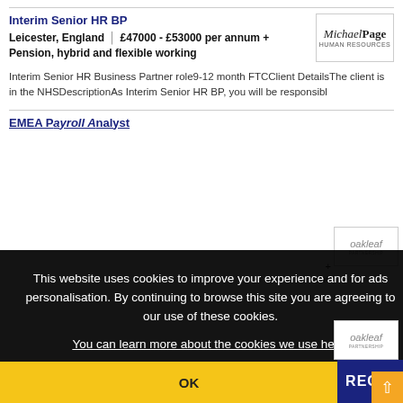Interim Senior HR BP
Leicester, England | £47000 - £53000 per annum + Pension, hybrid and flexible working
Interim Senior HR Business Partner role9-12 month FTCClient DetailsThe client is in the NHSDescriptionAs Interim Senior HR BP, you will be responsibl
EMEA Payroll Analyst
This website uses cookies to improve your experience and for ads personalisation. By continuing to browse this site you are agreeing to our use of these cookies.
You can learn more about the cookies we use here.
OK